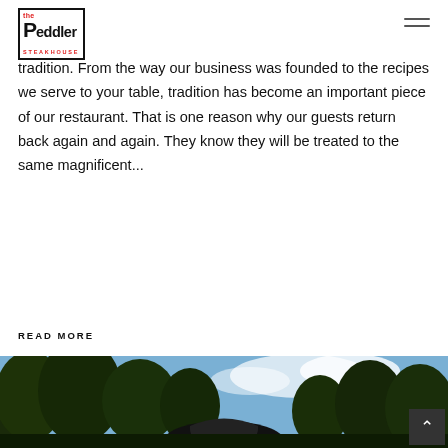The Peddler Steakhouse logo and hamburger menu
tradition. From the way our business was founded to the recipes we serve to your table, tradition has become an important piece of our restaurant. That is one reason why our guests return back again and again. They know they will be treated to the same magnificent...
READ MORE
[Figure (photo): Bottom portion of an outdoor photo showing trees against a blue sky and what appears to be a restaurant sign, partially visible.]